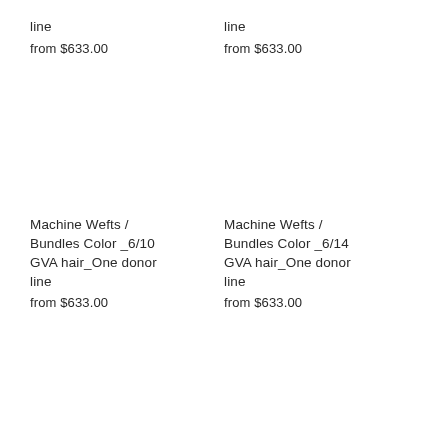line
from $633.00
line
from $633.00
Machine Wefts / Bundles Color _6/10 GVA hair_One donor line
from $633.00
Machine Wefts / Bundles Color _6/14 GVA hair_One donor line
from $633.00